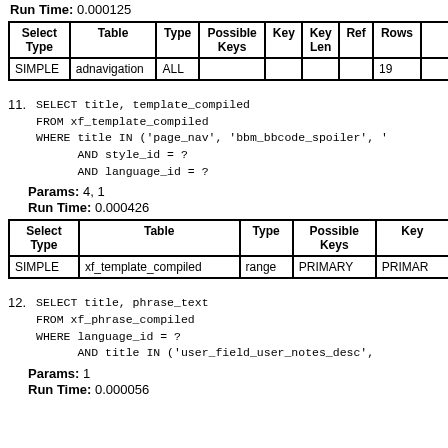Run Time: 0.000125
| Select Type | Table | Type | Possible Keys | Key | Key Len | Ref | Rows |  |
| --- | --- | --- | --- | --- | --- | --- | --- | --- |
| SIMPLE | adnavigation | ALL |  |  |  |  | 19 |  |
11. SELECT title, template_compiled
    FROM xf_template_compiled
    WHERE title IN ('page_nav', 'bbm_bbcode_spoiler', '
          AND style_id = ?
          AND language_id = ?
Params: 4, 1
Run Time: 0.000426
| Select Type | Table | Type | Possible Keys | Key |
| --- | --- | --- | --- | --- |
| SIMPLE | xf_template_compiled | range | PRIMARY | PRIMARY |
12. SELECT title, phrase_text
    FROM xf_phrase_compiled
    WHERE language_id = ?
          AND title IN ('user_field_user_notes_desc',
Params: 1
Run Time: 0.000056